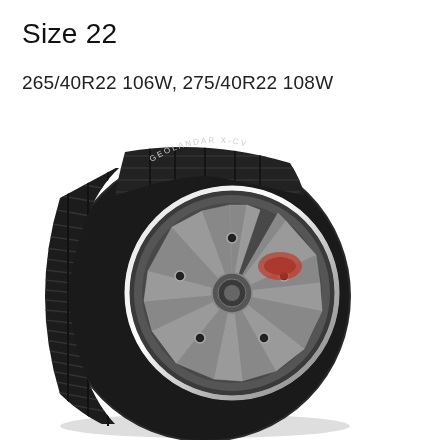Size 22
265/40R22 106W, 275/40R22 108W
[Figure (photo): A Yokohama Geolandar tire mounted on a multi-spoke silver alloy wheel, photographed at a slight angle showing the tread pattern and sidewall.]